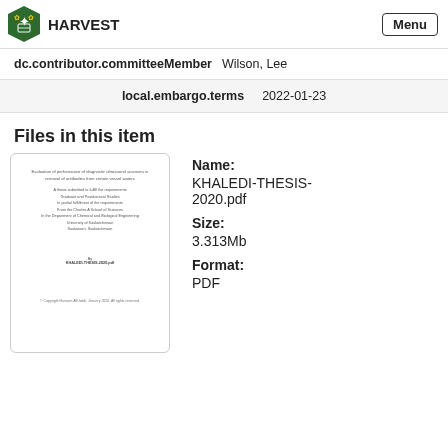HARVEST
| Field | Value |
| --- | --- |
| dc.contributor.committeeMember | Wilson, Lee |
| local.embargo.terms | 2022-01-23 |
Files in this item
[Figure (other): Thumbnail of thesis PDF cover page]
Name: KHALEDI-THESIS-2020.pdf
Size: 3.313Mb
Format: PDF